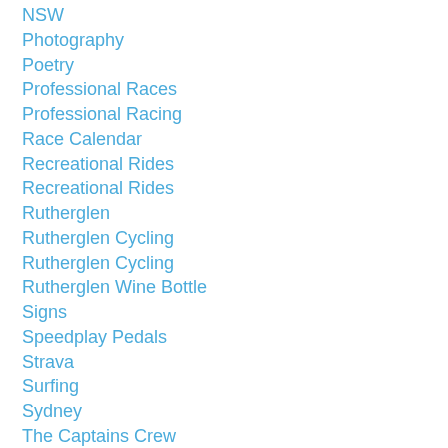NSW
Photography
Poetry
Professional Races
Professional Racing
Race Calendar
Recreational Rides
Recreational Rides
Rutherglen
Rutherglen Cycling
Rutherglen Cycling
Rutherglen Wine Bottle
Signs
Speedplay Pedals
Strava
Surfing
Sydney
The Captains Crew
Time Trial
Tour Down Under
Tour Of Bright